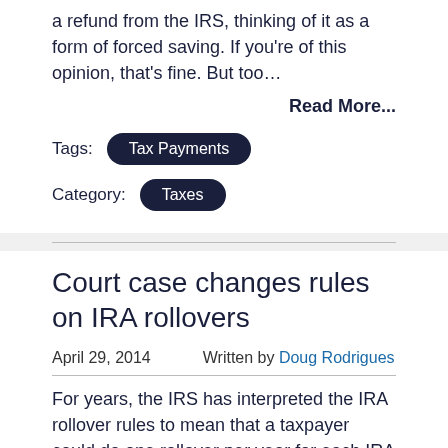a refund from the IRS, thinking of it as a form of forced saving. If you're of this opinion, that's fine. But too...
Read More...
Tags: Tax Payments
Category: Taxes
Court case changes rules on IRA rollovers
April 29, 2014   Written by Doug Rodrigues
For years, the IRS has interpreted the IRA rollover rules to mean that a taxpayer could do one rollover per year for each IRA he or she owned. In doing a rollover, the taxpayer is not to take the funds taken from the IRA...